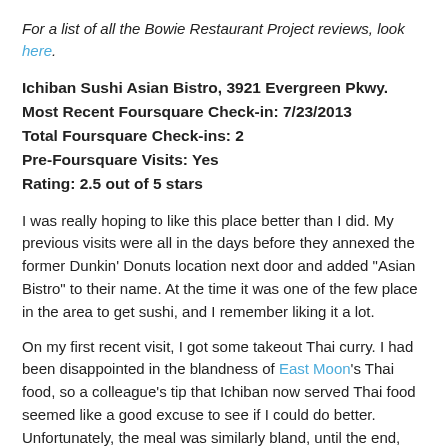For a list of all the Bowie Restaurant Project reviews, look here.
Ichiban Sushi Asian Bistro, 3921 Evergreen Pkwy.
Most Recent Foursquare Check-in: 7/23/2013
Total Foursquare Check-ins: 2
Pre-Foursquare Visits: Yes
Rating: 2.5 out of 5 stars
I was really hoping to like this place better than I did. My previous visits were all in the days before they annexed the former Dunkin' Donuts location next door and added "Asian Bistro" to their name. At the time it was one of the few place in the area to get sushi, and I remember liking it a lot.
On my first recent visit, I got some takeout Thai curry. I had been disappointed in the blandness of East Moon's Thai food, so a colleague's tip that Ichiban now served Thai food seemed like a good excuse to see if I could do better. Unfortunately, the meal was similarly bland, until the end, when I hit a pocket of heat.